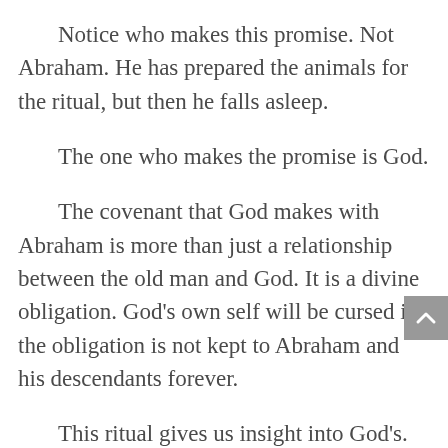Notice who makes this promise. Not Abraham. He has prepared the animals for the ritual, but then he falls asleep.
The one who makes the promise is God.
The covenant that God makes with Abraham is more than just a relationship between the old man and God. It is a divine obligation. God’s own self will be cursed if the obligation is not kept to Abraham and his descendants forever.
This ritual gives us insight into God’s. God is not free to abandon us because God has chosen to be bound to God’s people in a